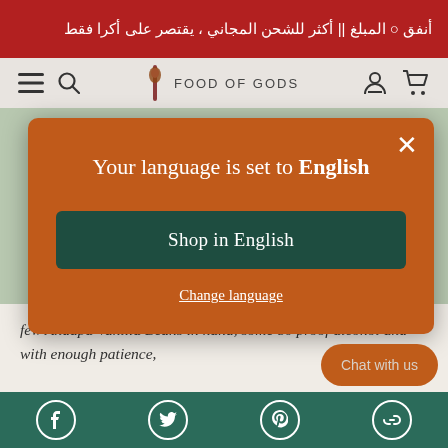أنفق ○ المبلغ || أكثر للشحن المجاني ، يقتصر على أكرا فقط
[Figure (screenshot): Navigation bar with hamburger menu, search icon, Food of Gods logo with stylized guitar/torch icon, user account icon, and shopping cart icon]
[Figure (screenshot): Language selector modal popup with orange background showing 'Your language is set to English', a dark green 'Shop in English' button, and a 'Change language' link. Close (X) button in top right.]
few Andapa Vanilla Beans in hand, some 80 proof alcohol and with enough patience,
[Figure (screenshot): Chat with us button in orange/brown color, bottom right]
Social media icons: Facebook, Twitter, Pinterest, Link